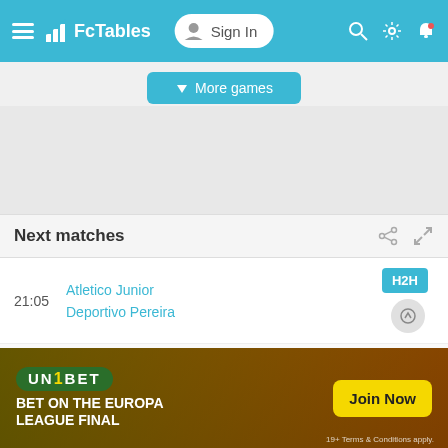FcTables — Sign In navigation bar
More games
Next matches
| Time | Teams | Action |
| --- | --- | --- |
| 21:05 | Atletico Junior / Deportivo Pereira | H2H |
| 23:00 | Union Magdalena / Atletico Junior | H2H |
| 20:30 | Deportivo Pasto | H2H |
[Figure (screenshot): Unibet advertisement banner: BET ON THE EUROPA LEAGUE FINAL — Join Now. 19+ Terms & Conditions apply.]